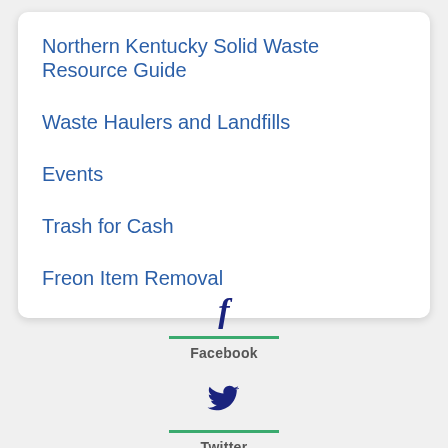Northern Kentucky Solid Waste Resource Guide
Waste Haulers and Landfills
Events
Trash for Cash
Freon Item Removal
Facebook
Twitter